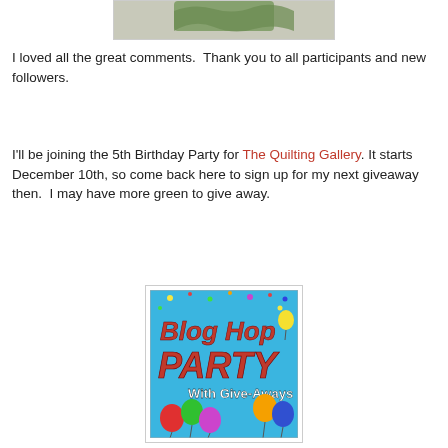[Figure (photo): Partial view of a knitted or crocheted green item on a light background]
I loved all the great comments.  Thank you to all participants and new followers.
I'll be joining the 5th Birthday Party for The Quilting Gallery.  It starts December 10th, so come back here to sign up for my next giveaway then.  I may have more green to give away.
[Figure (illustration): Blog Hop Party with Give-Aways banner image showing colorful balloons and festive text]